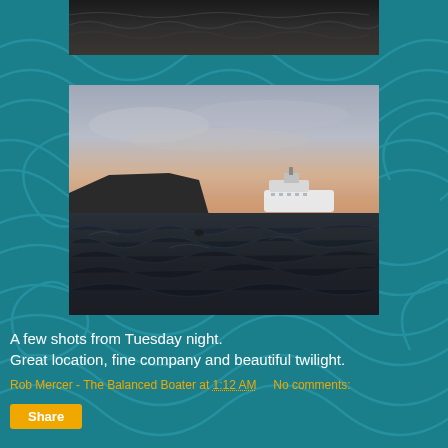[Figure (photo): Top partial photo showing dark ocean waves, cropped strip at top of page]
[Figure (photo): Main photograph showing ocean waves in the foreground, a cliff/headland on the left, a white cruise ship in the middle distance, and a twilight sky with warm orange and grey tones]
A few shots from Tuesday night.
Great location, fine company and beautiful twilight.
Rob Mercer - The Balanced Boater at 1:12 AM    No comments:
Share